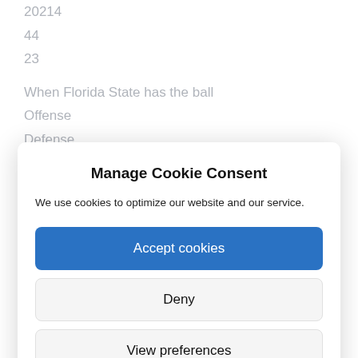20214
44
23
When Florida State has the ball
Offense
Defense
Manage Cookie Consent
We use cookies to optimize our website and our service.
Accept cookies
Deny
View preferences